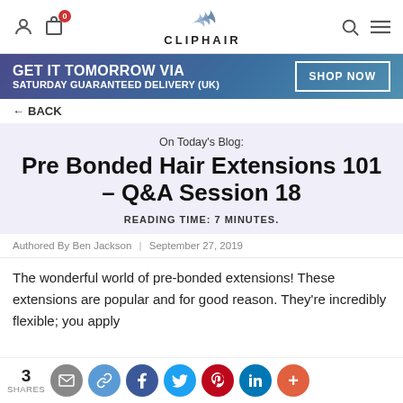CLIPHAIR — navigation bar with user icon, bag (0), logo, search, menu
[Figure (infographic): Promotional banner: GET IT TOMORROW VIA SATURDAY GUARANTEED DELIVERY (UK) — SHOP NOW button]
← BACK
On Today's Blog:
Pre Bonded Hair Extensions 101 – Q&A Session 18
READING TIME: 7 MINUTES.
Authored By Ben Jackson | September 27, 2019
The wonderful world of pre-bonded extensions! These extensions are popular and for good reason. They're incredibly flexible; you apply
3 SHARES — share buttons: email, link, Facebook, Twitter, Pinterest, LinkedIn, more